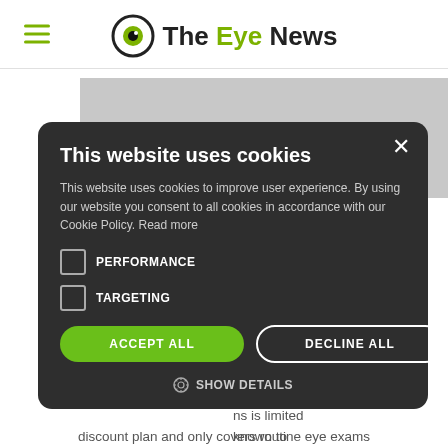The Eye News
[Figure (screenshot): Cookie consent modal overlay on The Eye News website. Modal has dark background with title 'This website uses cookies', body text about cookie policy, PERFORMANCE and TARGETING checkboxes, ACCEPT ALL and DECLINE ALL buttons, and SHOW DETAILS option.]
m plan to ns is limited known to want to check ific plan ts as a discount plan and only covers routine eye exams